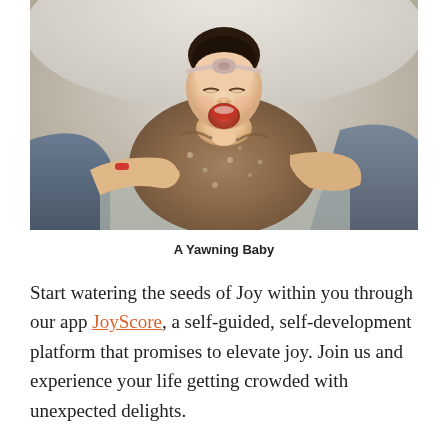[Figure (photo): A newborn baby wrapped in a brown floral swaddle blanket, appearing to yawn with mouth open and eyes closed, wearing a small headband. Adult hands are visible holding the baby, who is sitting on someone's lap dressed in denim jeans.]
A Yawning Baby
Start watering the seeds of Joy within you through our app JoyScore, a self-guided, self-development platform that promises to elevate joy. Join us and experience your life getting crowded with unexpected delights.